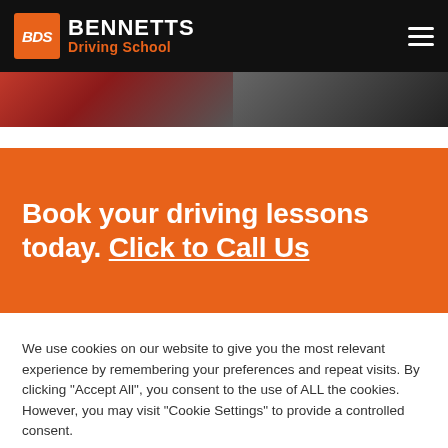BDS BENNETTS Driving School
[Figure (photo): Partial view of car interior and exterior, showing red car on left and dark car interior on right]
Book your driving lessons today. Click to Call Us
We use cookies on our website to give you the most relevant experience by remembering your preferences and repeat visits. By clicking "Accept All", you consent to the use of ALL the cookies. However, you may visit "Cookie Settings" to provide a controlled consent.
Cookie Settings | Accept All